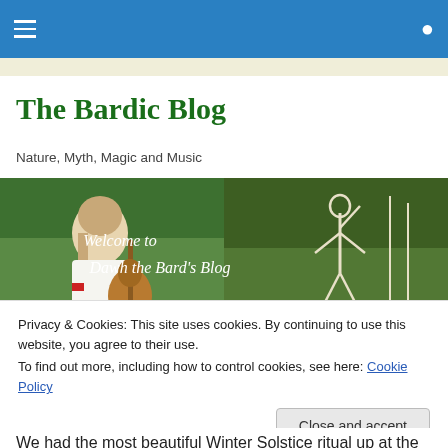The Bardic Blog — navigation bar with hamburger menu and search icon
The Bardic Blog
Nature, Myth, Magic and Music
[Figure (photo): Hero banner image split into two halves: left side shows a woman with long hair playing an acoustic guitar outdoors in a green forest setting, wearing a white shirt; right side shows a chalk hill figure (the Cerne Abbas Giant or similar) carved into a green hillside. Text overlay reads 'Welcome to Dawh the Bard's Blog' in white script font.]
Privacy & Cookies: This site uses cookies. By continuing to use this website, you agree to their use.
To find out more, including how to control cookies, see here: Cookie Policy
We had the most beautiful Winter Solstice ritual up at the